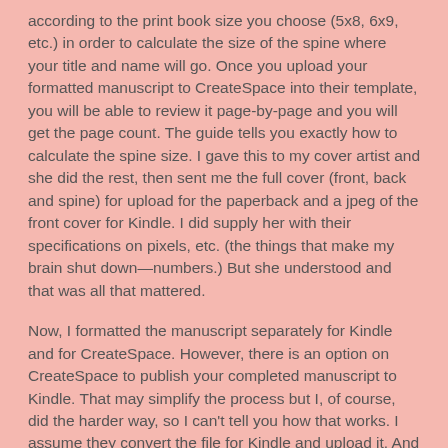according to the print book size you choose (5x8, 6x9, etc.) in order to calculate the size of the spine where your title and name will go. Once you upload your formatted manuscript to CreateSpace into their template, you will be able to review it page-by-page and you will get the page count. The guide tells you exactly how to calculate the spine size. I gave this to my cover artist and she did the rest, then sent me the full cover (front, back and spine) for upload for the paperback and a jpeg of the front cover for Kindle. I did supply her with their specifications on pixels, etc. (the things that make my brain shut down—numbers.) But she understood and that was all that mattered.
Now, I formatted the manuscript separately for Kindle and for CreateSpace. However, there is an option on CreateSpace to publish your completed manuscript to Kindle. That may simplify the process but I, of course, did the harder way, so I can't tell you how that works. I assume they convert the file for Kindle and upload it. And CreateSpace runs its own check of your manuscript and tells you if there are any glitches before you publish. They won't let you make a complete fool of yourself. After all, their reputation is riding